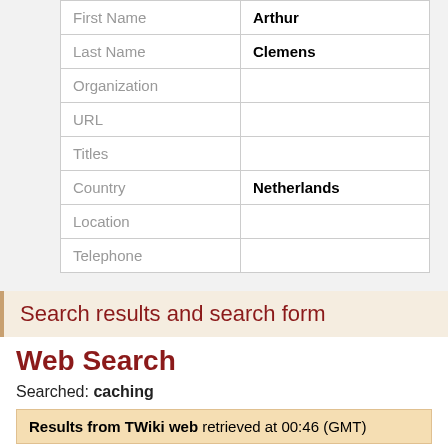| Field | Value |
| --- | --- |
| First Name | Arthur |
| Last Name | Clemens |
| Organization |  |
| URL |  |
| Titles |  |
| Country | Netherlands |
| Location |  |
| Telephone |  |
Search results and search form
Web Search
Searched: caching
Results from TWiki web retrieved at 00:46 (GMT)
HeadlinesPlugin NEW - 27 May 2006 - 07:56 TWikiContribute